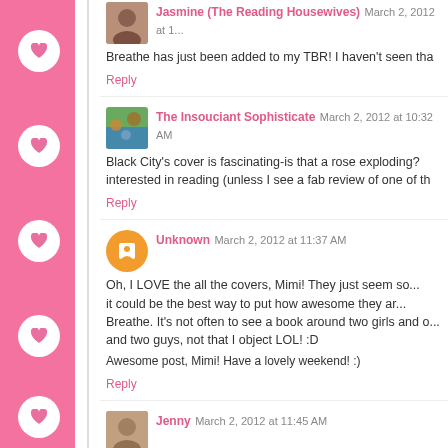Jasmine (The Reading Housewives) March 2, 2012 at 10:... Breathe has just been added to my TBR! I haven't seen tha... Reply
The Insouciant Sophisticate March 2, 2012 at 10:32 AM Black City's cover is fascinating-is that a rose exploding?... interested in reading (unless I see a fab review of one of th... Reply
Unknown March 2, 2012 at 11:37 AM Oh, I LOVE the all the covers, Mimi! They just seem so... it could be the best way to put how awesome they ar... Breathe. It's not often to see a book around two girls and o... and two guys, not that I object LOL! :D Awesome post, Mimi! Have a lovely weekend! :) Reply
Jenny March 2, 2012 at 11:45 AM